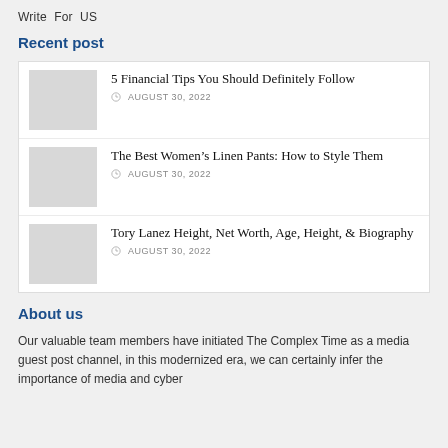Write For US
Recent post
5 Financial Tips You Should Definitely Follow
AUGUST 30, 2022
The Best Women’s Linen Pants: How to Style Them
AUGUST 30, 2022
Tory Lanez Height, Net Worth, Age, Height, & Biography
AUGUST 30, 2022
About us
Our valuable team members have initiated The Complex Time as a media guest post channel, in this modernized era, we can certainly infer the importance of media and cyber